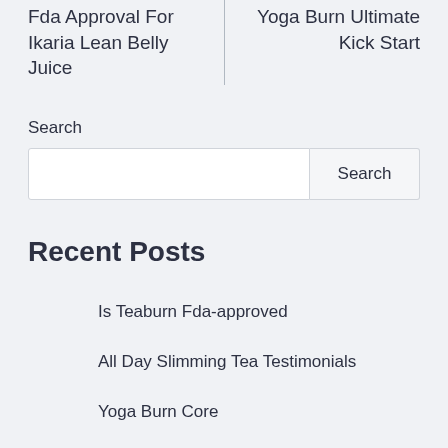Fda Approval For Ikaria Lean Belly Juice
Yoga Burn Ultimate Kick Start
Search
Recent Posts
Is Teaburn Fda-approved
All Day Slimming Tea Testimonials
Yoga Burn Core
Yoga Burn System Yoga Burn Review